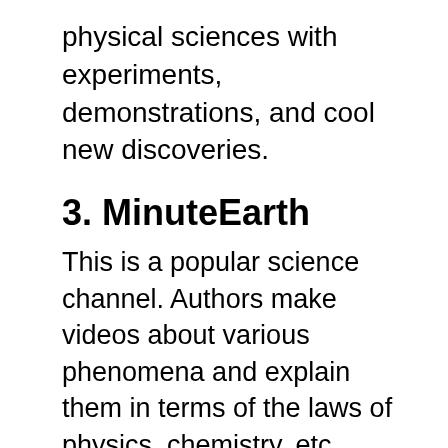physical sciences with experiments, demonstrations, and cool new discoveries.
3. MinuteEarth
This is a popular science channel. Authors make videos about various phenomena and explain them in terms of the laws of physics, chemistry, etc.
The creators of the channel refute popular scientific myths and tell how genetics actually “works”, how dangerous the greenhouse effect is, why raccoons can often be found on city streets and where water on earth comes from. Questions of this nature are covered on this channel.
No myths and fiction, only scientific justification and well-drawn videos with subtitles in different languages. Each video is made in the form of a